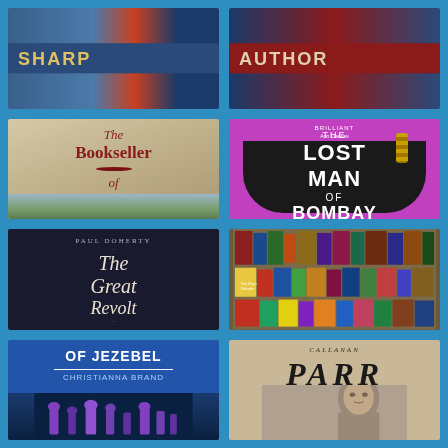[Figure (photo): Partial view of two book covers at top of page - partially cropped]
[Figure (photo): Book cover: The Bookseller of Inverness - historical fiction with sepia landscape and red wax seal]
[Figure (photo): Book cover: The Lost Man of Bombay - black art deco frame on magenta background with chain]
[Figure (photo): Book cover: The Great Revolt - dark cover with italic gothic title and crossed arrows]
[Figure (photo): Photo of a bookshop display with many colourful book covers arranged]
[Figure (photo): Partial book cover: Of Jezebel by Christianna Brand - blue cover with chess pieces]
[Figure (photo): Partial book cover: partially visible title PARR with portrait of a person]